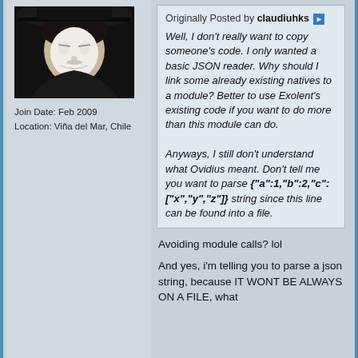[Figure (photo): Avatar image of a person wearing a Guy Fawkes/V for Vendetta mask and black hat]
Join Date: Feb 2009
Location: Viña del Mar, Chile
Originally Posted by claudiuhks
Well, I don't really want to copy someone's code. I only wanted a basic JSON reader. Why should I link some already existing natives to a module? Better to use Exolent's existing code if you want to do more than this module can do.

Anyways, I still don't understand what Ovidius meant. Don't tell me you want to parse {"a":1,"b":2,"c":["x","y","z"]} string since this line can be found into a file.
Avoiding module calls? lol
And yes, i'm telling you to parse a json string, because IT WONT BE ALWAYS ON A FILE, what